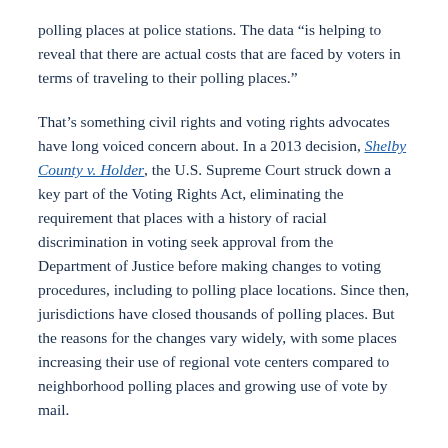polling places at police stations. The data “is helping to reveal that there are actual costs that are faced by voters in terms of traveling to their polling places.”
That’s something civil rights and voting rights advocates have long voiced concern about. In a 2013 decision, Shelby County v. Holder, the U.S. Supreme Court struck down a key part of the Voting Rights Act, eliminating the requirement that places with a history of racial discrimination in voting seek approval from the Department of Justice before making changes to voting procedures, including to polling place locations. Since then, jurisdictions have closed thousands of polling places. But the reasons for the changes vary widely, with some places increasing their use of regional vote centers compared to neighborhood polling places and growing use of vote by mail.
Every polling place closure isn’t necessarily nefarious, but it’s important to look at the justification for the closure and the effect of rapidly changing state laws that may limit access to alternatives such as vote by mail, said Jesselyn